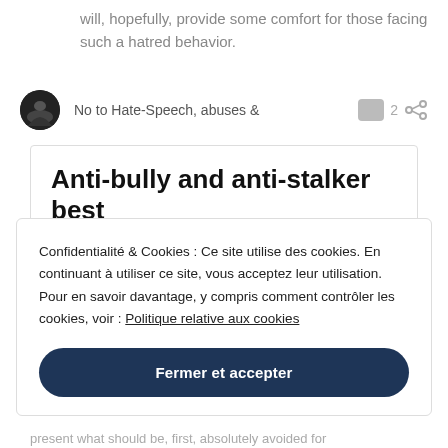will, hopefully, provide some comfort for those facing such a hatred behavior.
No to Hate-Speech, abuses &
Anti-bully and anti-stalker best practice for Twitter
Confidentialité & Cookies : Ce site utilise des cookies. En continuant à utiliser ce site, vous acceptez leur utilisation. Pour en savoir davantage, y compris comment contrôler les cookies, voir : Politique relative aux cookies
Fermer et accepter
present what should be, first, absolutely avoided for